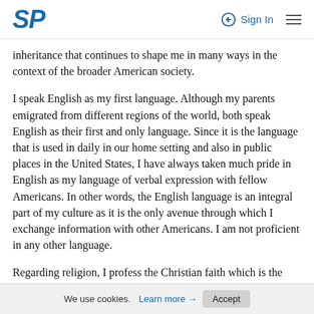SP | Sign In
inheritance that continues to shape me in many ways in the context of the broader American society.
I speak English as my first language. Although my parents emigrated from different regions of the world, both speak English as their first and only language. Since it is the language that is used in daily in our home setting and also in public places in the United States, I have always taken much pride in English as my language of verbal expression with fellow Americans. In other words, the English language is an integral part of my culture as it is the only avenue through which I exchange information with other Americans. I am not proficient in any other language.
Regarding religion, I profess the Christian faith which is the similar faith that is practiced by my parents. Christianity has been an integral part of my life and that of the parents
We use cookies. Learn more → Accept